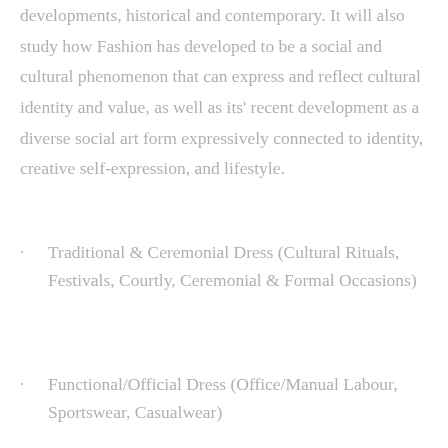developments, historical and contemporary. It will also study how Fashion has developed to be a social and cultural phenomenon that can express and reflect cultural identity and value, as well as its' recent development as a diverse social art form expressively connected to identity, creative self-expression, and lifestyle.
Traditional & Ceremonial Dress (Cultural Rituals, Festivals, Courtly, Ceremonial & Formal Occasions)
Functional/Official Dress (Office/Manual Labour, Sportswear, Casualwear)